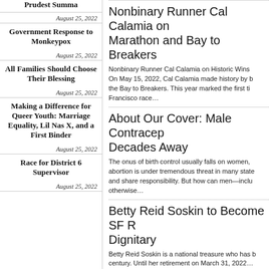Prudest Summa
August 25, 2022
Government Response to Monkeypox
August 25, 2022
All Families Should Choose Their Blessing
August 25, 2022
Making a Difference for Queer Youth: Marriage Equality, Lil Nas X, and a First Binder
August 25, 2022
Race for District 6 Supervisor
August 25, 2022
Nonbinary Runner Cal Calamia on Marathon and Bay to Breakers
Nonbinary Runner Cal Calamia on Historic Wins On May 15, 2022, Cal Calamia made history by b the Bay to Breakers. This year marked the first ti Francisco race…
About Our Cover: Male Contracep Decades Away
The onus of birth control usually falls on women, abortion is under tremendous threat in many state and share responsibility. But how can men—inclu otherwise…
Betty Reid Soskin to Become SF R Dignitary
Betty Reid Soskin is a national treasure who has b century. Until her retirement on March 31, 2022…